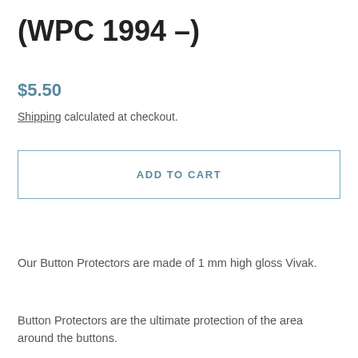(WPC 1994 -)
$5.50
Shipping calculated at checkout.
ADD TO CART
Our Button Protectors are made of 1 mm high gloss Vivak.
Button Protectors are the ultimate protection of the area around the buttons.